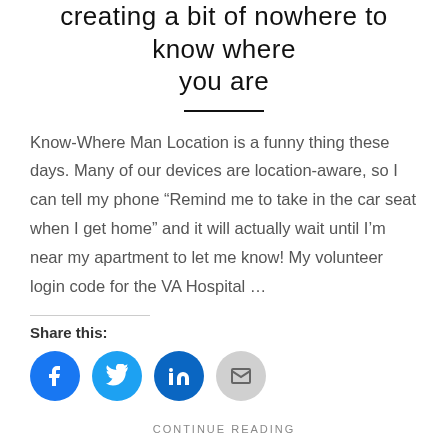creating a bit of nowhere to know where you are
Know-Where Man Location is a funny thing these days. Many of our devices are location-aware, so I can tell my phone “Remind me to take in the car seat when I get home” and it will actually wait until I’m near my apartment to let me know! My volunteer login code for the VA Hospital ...
Share this:
[Figure (other): Social share icons: Facebook, Twitter, LinkedIn, Email]
CONTINUE READING
LOVE
how to maintain intimacy while traveling